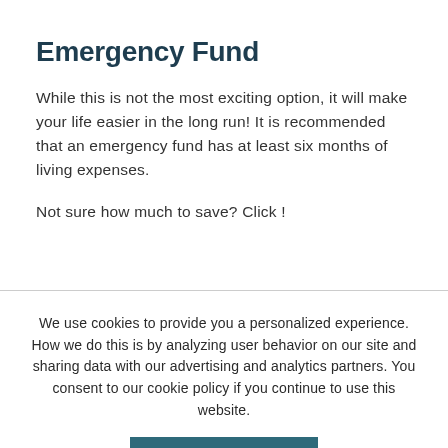Emergency Fund
While this is not the most exciting option, it will make your life easier in the long run! It is recommended that an emergency fund has at least six months of living expenses.
Not sure how much to save? Click !
We use cookies to provide you a personalized experience. How we do this is by analyzing user behavior on our site and sharing data with our advertising and analytics partners. You consent to our cookie policy if you continue to use this website.